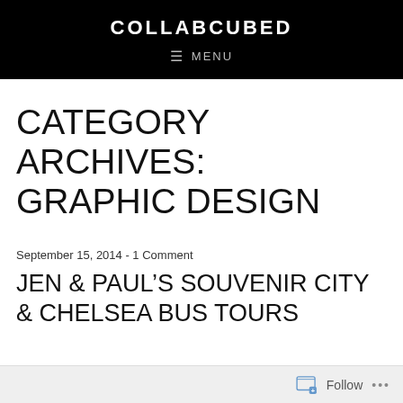COLLABCUBED
≡ MENU
CATEGORY ARCHIVES: GRAPHIC DESIGN
September 15, 2014 - 1 Comment
JEN & PAUL'S SOUVENIR CITY & CHELSEA BUS TOURS
Follow ...